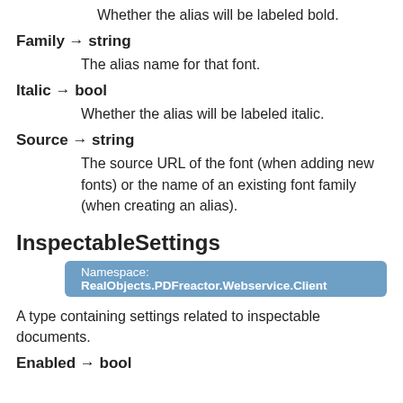Whether the alias will be labeled bold.
Family → string
The alias name for that font.
Italic → bool
Whether the alias will be labeled italic.
Source → string
The source URL of the font (when adding new fonts) or the name of an existing font family (when creating an alias).
InspectableSettings
Namespace: RealObjects.PDFreactor.Webservice.Client
A type containing settings related to inspectable documents.
Enabled → bool